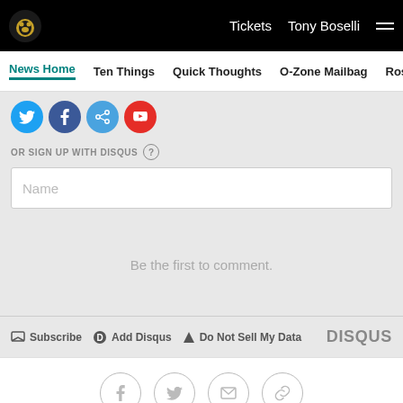Tickets  Tony Boselli  ☰
News Home  Ten Things  Quick Thoughts  O-Zone Mailbag  Ros
[Figure (screenshot): Social share buttons: Twitter (blue), Facebook (dark blue), share (blue), YouTube (red) circular icons]
OR SIGN UP WITH DISQUS ?
Name
Be the first to comment.
Subscribe  Add Disqus  Do Not Sell My Data  DISQUS
[Figure (screenshot): Footer social icons: Facebook, Twitter, email, link — circular outlines on white background]